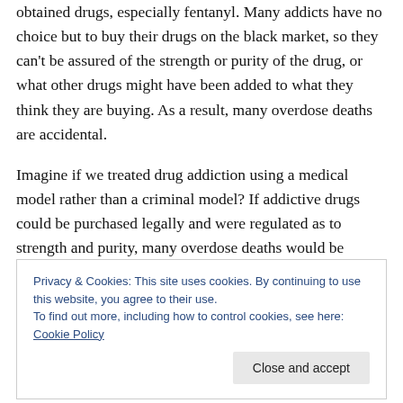obtained drugs, especially fentanyl. Many addicts have no choice but to buy their drugs on the black market, so they can't be assured of the strength or purity of the drug, or what other drugs might have been added to what they think they are buying. As a result, many overdose deaths are accidental.
Imagine if we treated drug addiction using a medical model rather than a criminal model? If addictive drugs could be purchased legally and were regulated as to strength and purity, many overdose deaths would be avoided. Additionally, people who become addicted might
Privacy & Cookies: This site uses cookies. By continuing to use this website, you agree to their use.
To find out more, including how to control cookies, see here: Cookie Policy
Close and accept
ended.